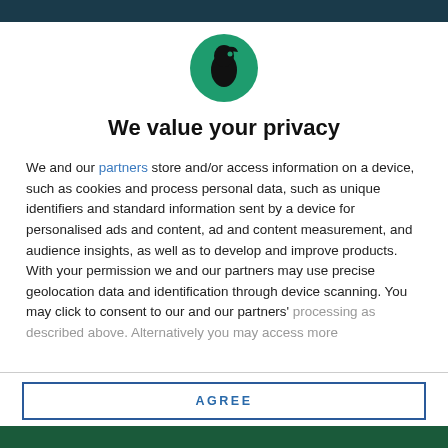[Figure (logo): Circular green logo with black silhouette of a bird/person figure]
We value your privacy
We and our partners store and/or access information on a device, such as cookies and process personal data, such as unique identifiers and standard information sent by a device for personalised ads and content, ad and content measurement, and audience insights, as well as to develop and improve products. With your permission we and our partners may use precise geolocation data and identification through device scanning. You may click to consent to our and our partners' processing as described above. Alternatively you may access more
AGREE
MORE OPTIONS